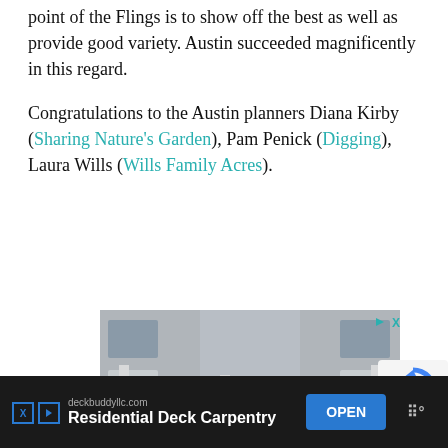point of the Flings is to show off the best as well as provide good variety. Austin succeeded magnificently in this regard.
Congratulations to the Austin planners Diana Kirby (Sharing Nature's Garden), Pam Penick (Digging), Laura Wills (Wills Family Acres).
[Figure (photo): Photograph of a white wooden deck railing with vertical spindles, with grey siding house in the background. Small ad controls (play and X icons) visible in top right corner.]
[Figure (screenshot): Advertisement banner at bottom: dark background with deckbuddyllc.com domain, 'Residential Deck Carpentry' title, blue OPEN button, and X/play icons on the left.]